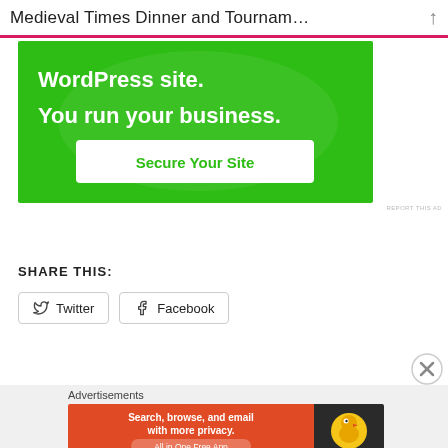Medieval Times Dinner and Tournam…
[Figure (screenshot): Green advertisement banner with text 'WordPress site. You run your business.' and a white button 'Secure Your Site']
REPORT THIS AD
SHARE THIS:
[Figure (screenshot): Social share buttons: Twitter and Facebook]
[Figure (screenshot): DuckDuckGo advertisement banner: 'Search, browse, and email with more privacy. All in One Free App' with DuckDuckGo duck logo]
REPORT THIS AD